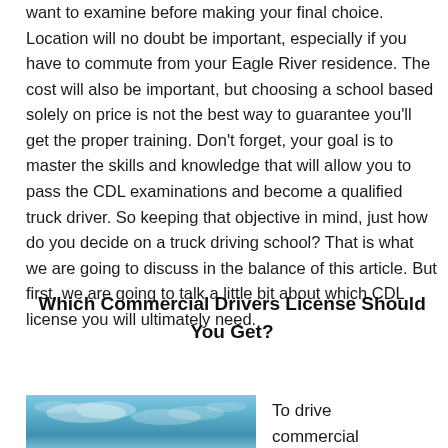want to examine before making your final choice. Location will no doubt be important, especially if you have to commute from your Eagle River residence. The cost will also be important, but choosing a school based solely on price is not the best way to guarantee you'll get the proper training. Don't forget, your goal is to master the skills and knowledge that will allow you to pass the CDL examinations and become a qualified truck driver. So keeping that objective in mind, just how do you decide on a truck driving school? That is what we are going to discuss in the balance of this article. But first, we are going to talk a little bit about which CDL license you will ultimately need.
Which Commercial Drivers License Should You Get?
[Figure (photo): Photo of sky with clouds, blue tones]
To drive commercial